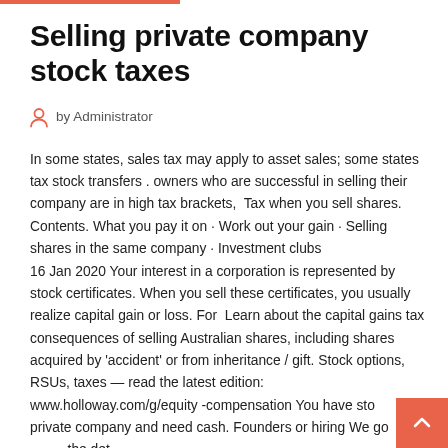Selling private company stock taxes
by Administrator
In some states, sales tax may apply to asset sales; some states tax stock transfers . owners who are successful in selling their company are in high tax brackets,  Tax when you sell shares. Contents. What you pay it on · Work out your gain · Selling shares in the same company · Investment clubs
16 Jan 2020 Your interest in a corporation is represented by stock certificates. When you sell these certificates, you usually realize capital gain or loss. For  Learn about the capital gains tax consequences of selling Australian shares, including shares acquired by 'accident' or from inheritance / gift. Stock options, RSUs, taxes — read the latest edition: www.holloway.com/g/equity -compensation You have sto private company and need cash. Founders or hiring We go the details at to next page...